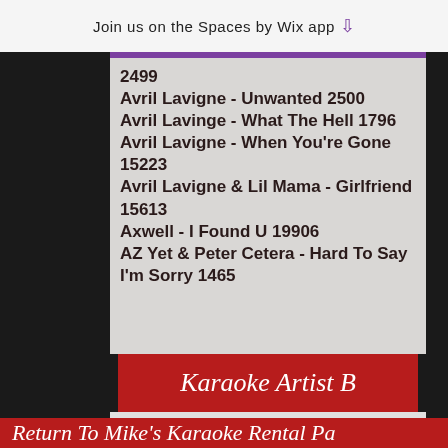Join us on the Spaces by Wix app ↓
2499
Avril Lavigne - Unwanted 2500
Avril Lavinge - What The Hell 1796
Avril Lavigne - When You're Gone 15223
Avril Lavigne & Lil Mama - Girlfriend 15613
Axwell - I Found U 19906
AZ Yet & Peter Cetera - Hard To Say I'm Sorry 1465
Karaoke Artist B
Return To Mike's Karaoke Rental Pa